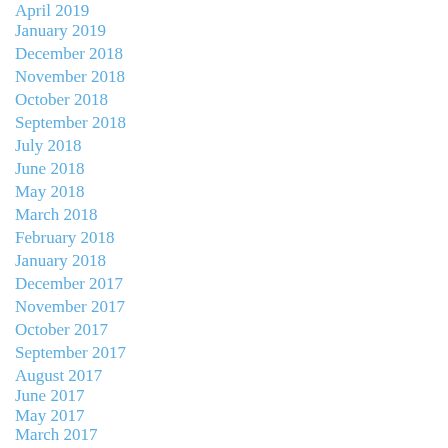April 2019
January 2019
December 2018
November 2018
October 2018
September 2018
July 2018
June 2018
May 2018
March 2018
February 2018
January 2018
December 2017
November 2017
October 2017
September 2017
August 2017
June 2017
May 2017
March 2017
February 2017